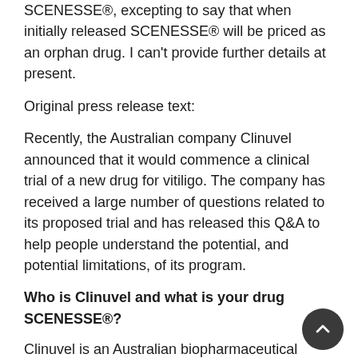SCENESSE®, excepting to say that when initially released SCENESSE® will be priced as an orphan drug. I can't provide further details at present.
Original press release text:
Recently, the Australian company Clinuvel announced that it would commence a clinical trial of a new drug for vitiligo. The company has received a large number of questions related to its proposed trial and has released this Q&A to help people understand the potential, and potential limitations, of its program.
Who is Clinuvel and what is your drug SCENESSE®?
Clinuvel is an Australian biopharmaceutical company developing drugs for individuals with a range of dermatological conditions. Clinuvel has focused primarily on a drug called SCENESSE® (afamelanotide) which is an injectable implant drug roughly the size of a grain of rice.